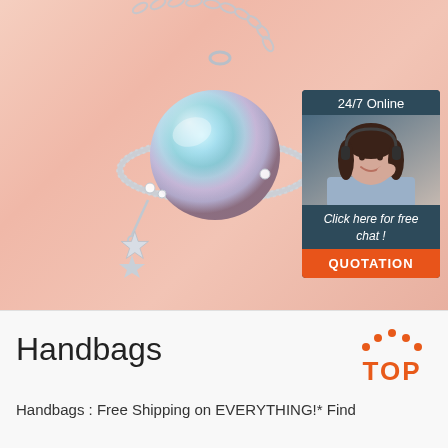[Figure (photo): Planet/Saturn-themed silver necklace pendant with iridescent aurora borealis pearl center, silver ring around it, small crystal accents, and star charm. Chain visible at top. Photographed on a peach/blush background.]
[Figure (infographic): Customer service chat widget with dark teal background. Shows '24/7 Online' text at top, photo of smiling female agent with headset, 'Click here for free chat!' text in italic, and orange 'QUOTATION' button.]
Handbags
[Figure (illustration): Orange and red 'TOP' logo with dot pattern above the word forming an arch/triangle shape]
Handbags : Free Shipping on EVERYTHING!* Find